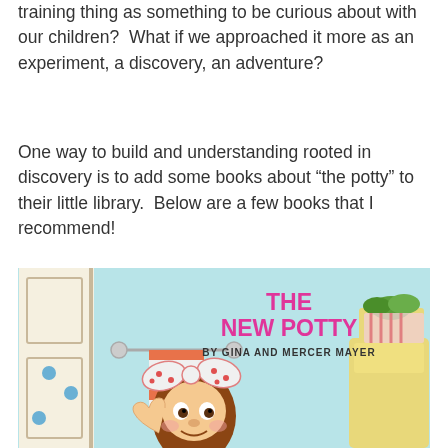training thing as something to be curious about with our children?  What if we approached it more as an experiment, a discovery, an adventure?
One way to build and understanding rooted in discovery is to add some books about “the potty” to their little library.  Below are a few books that I recommend!
[Figure (illustration): Book cover of 'The New Potty' by Gina and Mercer Mayer, showing a cartoon girl character with a polka-dot bow in a bathroom setting with a towel rack, toilet, and plants visible.]